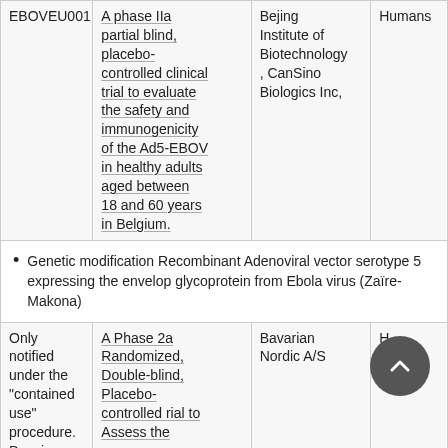| EBOVEU001 | A phase IIa partial blind, placebo-controlled clinical trial to evaluate the safety and immunogenicity of the Ad5-EBOV in healthy adults aged between 18 and 60 years in Belgium. | Bejing Institute of Biotechnology, CanSino Biologics Inc, | Humans |
Genetic modification Recombinant Adenoviral vector serotype 5 expressing the envelop glycoprotein from Ebola virus (Zaïre-Makona)
| Only notified under the "contained use" procedure. Dossier… | A Phase 2a Randomized, Double-blind, Placebo-controlled rial to Assess the… | Bavarian Nordic A/S | H… |